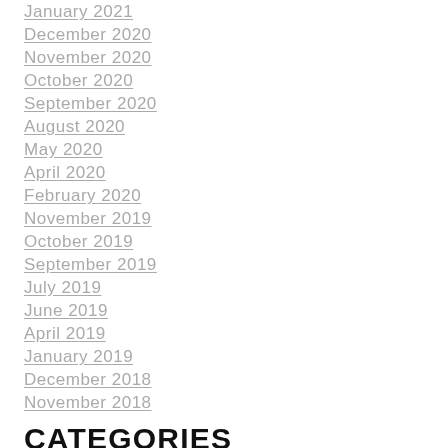January 2021
December 2020
November 2020
October 2020
September 2020
August 2020
May 2020
April 2020
February 2020
November 2019
October 2019
September 2019
July 2019
June 2019
April 2019
January 2019
December 2018
November 2018
CATEGORIES